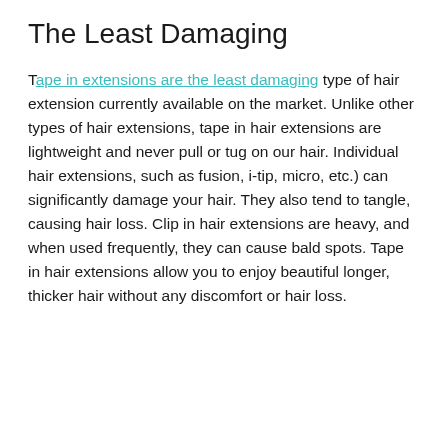The Least Damaging
Tape in extensions are the least damaging type of hair extension currently available on the market. Unlike other types of hair extensions, tape in hair extensions are lightweight and never pull or tug on our hair. Individual hair extensions, such as fusion, i-tip, micro, etc.) can significantly damage your hair. They also tend to tangle, causing hair loss. Clip in hair extensions are heavy, and when used frequently, they can cause bald spots. Tape in hair extensions allow you to enjoy beautiful longer, thicker hair without any discomfort or hair loss.